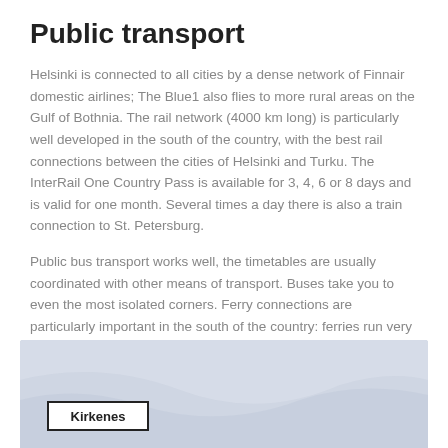Public transport
Helsinki is connected to all cities by a dense network of Finnair domestic airlines; The Blue1 also flies to more rural areas on the Gulf of Bothnia. The rail network (4000 km long) is particularly well developed in the south of the country, with the best rail connections between the cities of Helsinki and Turku. The InterRail One Country Pass is available for 3, 4, 6 or 8 days and is valid for one month. Several times a day there is also a train connection to St. Petersburg.
Public bus transport works well, the timetables are usually coordinated with other means of transport. Buses take you to even the most isolated corners. Ferry connections are particularly important in the south of the country: ferries run very frequently in the Turku archipelago, to the Åland Islands, to Sweden (from Helsinki, Turku and the cities on the Gulf of Bothnia), but also to Estonia, Germany and to Poland (from Helsinki).
[Figure (map): A map showing northern Scandinavia with a label box reading 'Kirkenes' in the lower-left portion of the visible map area.]